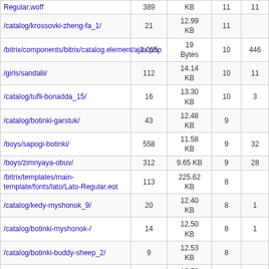| Regular.woff | 389 | KB | 11 | 11 |
| /catalog/krossovki-zheng-fa_1/ | 21 | 12.99 KB | 11 |  |
| /bitrix/components/bitrix/catalog.element/ajax.php | 2,015 | 19 Bytes | 10 | 446 |
| /girls/sandalii/ | 112 | 14.14 KB | 10 | 11 |
| /catalog/tufli-bonadda_15/ | 16 | 13.30 KB | 10 | 3 |
| /catalog/botinki-garstuk/ | 43 | 12.48 KB | 9 |  |
| /boys/sapogi-botinki/ | 558 | 11.58 KB | 9 | 32 |
| /boys/zimnyaya-obuv/ | 312 | 9.65 KB | 9 | 28 |
| /bitrix/templates/main-template/fonts/lato/Lato-Regular.eot | 113 | 225.62 KB | 8 |  |
| /catalog/kedy-myshonok_9/ | 20 | 12.40 KB | 8 | 1 |
| /catalog/botinki-myshonok-/ | 14 | 12.50 KB | 8 | 1 |
| /catalog/botinki-buddy-sheep_2/ | 9 | 12.53 KB | 8 |  |
| /catalog/botinki-veselyy-mishka_7/ | 14 | 12.52 KB | 8 |  |
| /girls/tufli-baletki/ | 426 | 12.78 KB | 8 | 13 |
| /catalog/slipony-bonadda_6/ | 10 | 12.05 KB | 7 |  |
| /catalog/botinki-buddy-sheep_6/ | 33 | 16.80 KB | 7 | 2 |
| /bitrix/templates/main-template/fonts/lato/Lato... |  | 191.12 |  |  |